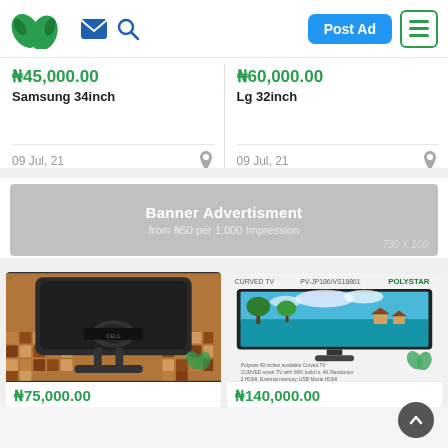[Figure (screenshot): App header with green leaf logo, email and search icons, blue Post Ad button, and green-bordered menu icon]
₦45,000.00
Samsung 34inch
09 Jul, 21
₦60,000.00
Lg 32inch
09 Jul, 21
[Figure (infographic): Banner advertisement placeholder: 'Banner Advertisment from ₦50 per 1,000 Impression' with dimensions 730 x 100]
[Figure (photo): Back view of a dark monitor/TV on a mosaic tile surface]
₦75,000.00
[Figure (photo): Polystar Curved TV product image showing a tropical beach scene]
₦140,000.00